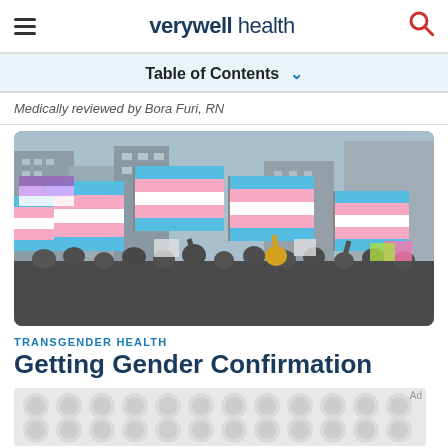verywell health
Table of Contents
Medically reviewed by Bora Furi, RN
[Figure (photo): Crowd of people holding transgender pride flags (blue, pink, and white stripes) at an outdoor rally in an urban setting with buildings in the background.]
TRANSGENDER HEALTH
Getting Gender Confirmation
[Figure (other): Advertisement placeholder with repeating dot/circle pattern on light gray background.]